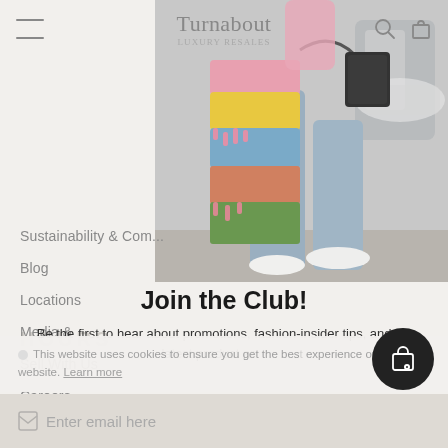Turnabout LUXURY RESALES
[Figure (photo): Fashion street photo showing person from waist down wearing a colorful chunky knit patchwork sweater/bag in pink, yellow, blue, green, orange colors, with light blue flared jeans and white sneakers, carrying a black chain bag]
Sustainability & Community
Blog
Locations
Media &
Sell With Us
Careers
Join the Club!
Be the first to hear about promotions, fashion-insider tips, and the latest product arrivals.
This website uses cookies to ensure you get the best experience on our website. Learn more
Enter email here